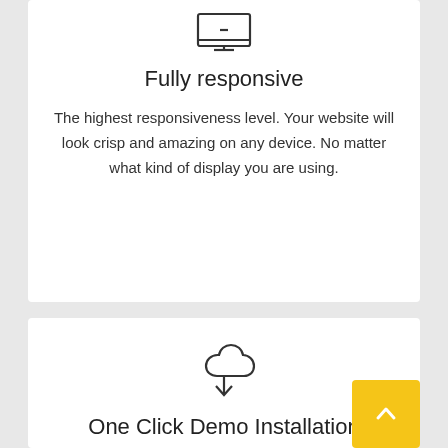[Figure (illustration): Monitor/screen icon — outline drawing of a desktop display with a small dash at bottom center]
Fully responsive
The highest responsiveness level. Your website will look crisp and amazing on any device. No matter what kind of display you are using.
[Figure (illustration): Cloud with downward arrow/download icon — outline drawing of a cloud shape with an arrow pointing down below it]
One Click Demo Installation
Import your demo content, widgets and theme settings with one click. Your store will be ready within a min after imp